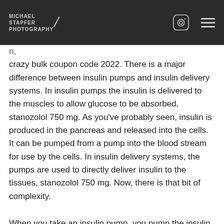MICHAEL STAPFER PHOTOGRAPHY
n, crazy bulk coupon code 2022. There is a major difference between insulin pumps and insulin delivery systems. In insulin pumps the insulin is delivered to the muscles to allow glucose to be absorbed, stanozolol 750 mg. As you've probably seen, insulin is produced in the pancreas and released into the cells. It can be pumped from a pump into the blood stream for use by the cells. In insulin delivery systems, the pumps are used to directly deliver insulin to the tissues, stanozolol 750 mg. Now, there is that bit of complexity.
When you take an insulin pump, you pump the insulin up to the insulin receptors. Once that is done, the pump pulls the insulin out, chisinau bus to iasi timetable. Then you